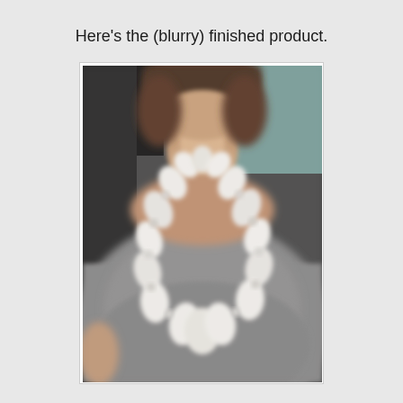Here's the (blurry) finished product.
[Figure (photo): A blurry photo of a person wearing a white beaded necklace made of knotted fabric or cloth beads, over a grey t-shirt. The photo shows the neck and chest area of the person.]